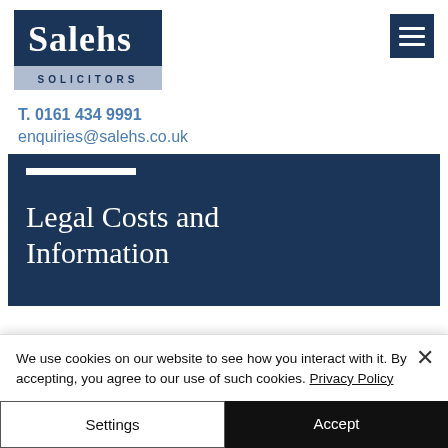[Figure (logo): Salehs Solicitors logo — dark navy rectangle with 'Salehs' in white serif font, light blue-grey bar beneath with 'SOLICITORS' in spaced capital letters]
T. 0161 434 9991
enquiries@salehs.co.uk
Legal Costs and Information
We use cookies on our website to see how you interact with it. By accepting, you agree to our use of such cookies. Privacy Policy